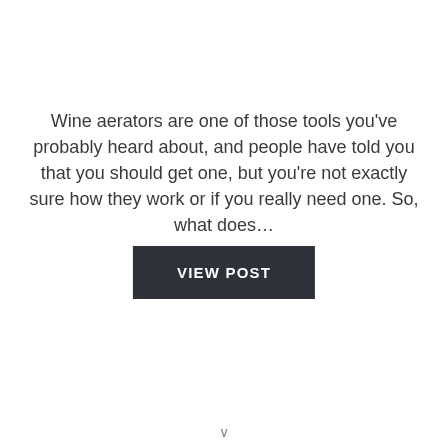Wine aerators are one of those tools you've probably heard about, and people have told you that you should get one, but you're not exactly sure how they work or if you really need one. So, what does…
VIEW POST